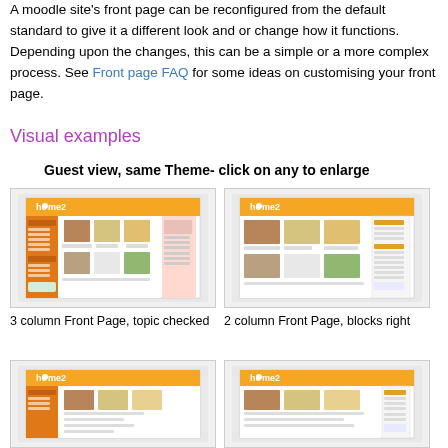A moodle site's front page can be reconfigured from the default standard to give it a different look and or change how it functions. Depending upon the changes, this can be a simple or a more complex process. See Front page FAQ for some ideas on customising your front page.
Visual examples
Guest view, same Theme- click on any to enlarge
[Figure (screenshot): Screenshot of 3 column Front Page with topic checked layout in Moodle]
3 column Front Page, topic checked
[Figure (screenshot): Screenshot of 2 column Front Page with blocks right layout in Moodle]
2 column Front Page, blocks right
[Figure (screenshot): Screenshot of another Moodle front page layout variant]
[Figure (screenshot): Screenshot of another Moodle front page layout variant]